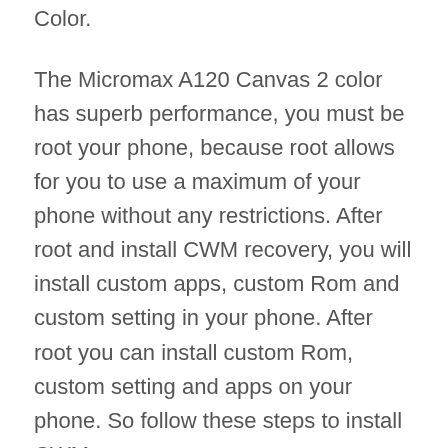Color.
The Micromax A120 Canvas 2 color has superb performance, you must be root your phone, because root allows for you to use a maximum of your phone without any restrictions. After root and install CWM recovery, you will install custom apps, custom Rom and custom setting in your phone. After root you can install custom Rom, custom setting and apps on your phone. So follow these steps to install CWM recovery.
Must read: Increase internal memory in Android Mobiles in easy steps